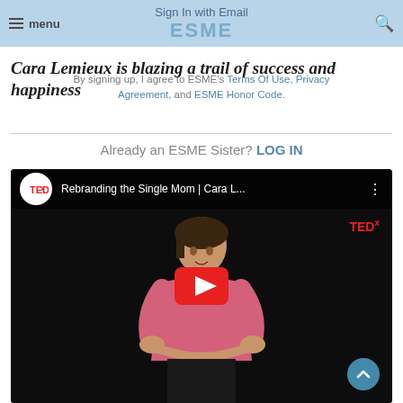menu | Sign In with Email | ESME
Cara Lemieux is blazing a trail of success and happiness
By signing up, I agree to ESME's Terms Of Use, Privacy Agreement, and ESME Honor Code.
Already an ESME Sister? LOG IN
[Figure (screenshot): Embedded YouTube TEDx video thumbnail showing a woman in a pink shirt on a dark stage with play button overlay. Title: Rebranding the Single Mom | Cara L... TEDx branding visible.]